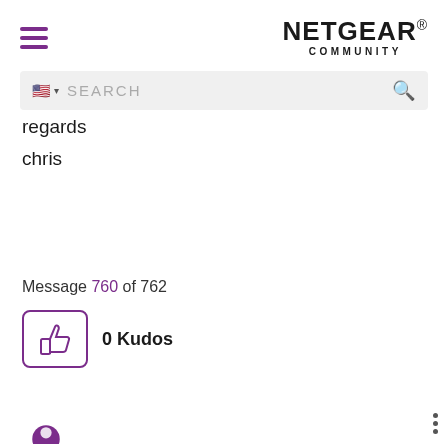NETGEAR® COMMUNITY
[Figure (screenshot): Search bar with US flag icon and magnifying glass icon on grey background]
regards
chris
Message 760 of 762
[Figure (illustration): Thumbs up kudos button icon (purple outline) with label '0 Kudos']
[Figure (illustration): Partial purple avatar circle at bottom of page]